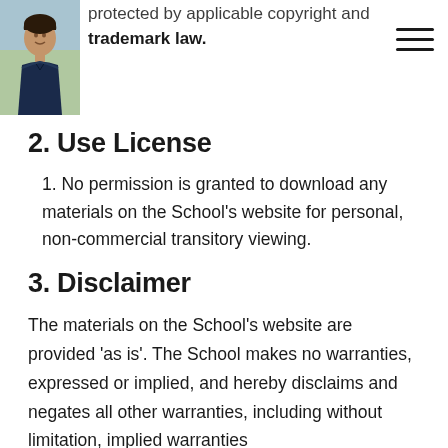[Figure (photo): Small portrait photo of a man in a dark navy shirt, outdoors with blurred background]
...protected by applicable copyright and trademark law.
2. Use License
1. No permission is granted to download any materials on the School's website for personal, non-commercial transitory viewing.
3. Disclaimer
The materials on the School's website are provided 'as is'. The School makes no warranties, expressed or implied, and hereby disclaims and negates all other warranties, including without limitation, implied warranties